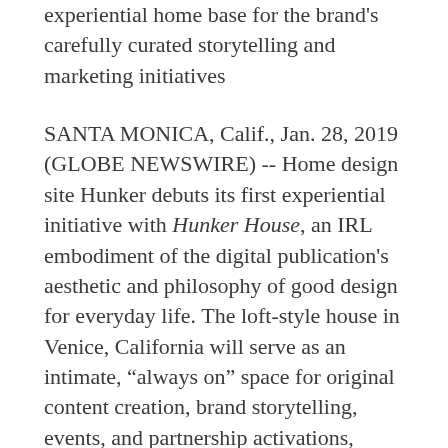experiential home base for the brand's carefully curated storytelling and marketing initiatives
SANTA MONICA, Calif., Jan. 28, 2019 (GLOBE NEWSWIRE) -- Home design site Hunker debuts its first experiential initiative with Hunker House, an IRL embodiment of the digital publication's aesthetic and philosophy of good design for everyday life. The loft-style house in Venice, California will serve as an intimate, “always on” space for original content creation, brand storytelling, events, and partnership activations, bringing together marquee brands and key leaders in home decor and interior design.
Curated by Hunker’s editorial team and led by